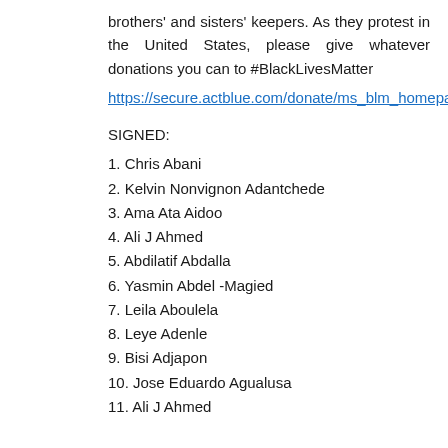brothers' and sisters' keepers. As they protest in the United States, please give whatever donations you can to #BlackLivesMatter
https://secure.actblue.com/donate/ms_blm_homepage2019
SIGNED:
1. Chris Abani
2. Kelvin Nonvignon Adantchede
3. Ama Ata Aidoo
4. Ali J Ahmed
5. Abdilatif Abdalla
6. Yasmin Abdel -Magied
7. Leila Aboulela
8. Leye Adenle
9. Bisi Adjapon
10. Jose Eduardo Agualusa
11. Ali J Ahmed